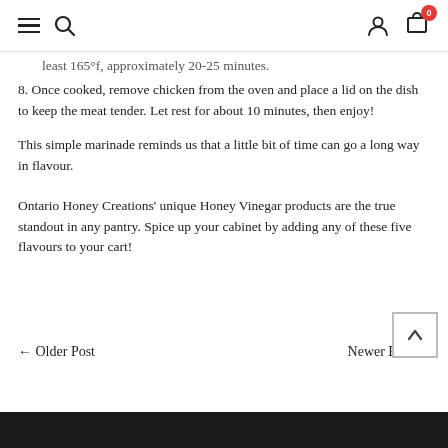Navigation bar with hamburger menu, search, user account, and cart (0 items)
least 165°f, approximately 20-25 minutes.
8. Once cooked, remove chicken from the oven and place a lid on the dish to keep the meat tender. Let rest for about 10 minutes, then enjoy!
This simple marinade reminds us that a little bit of time can go a long way in flavour.
Ontario Honey Creations' unique Honey Vinegar products are the true standout in any pantry. Spice up your cabinet by adding any of these five flavours to your cart!
← Older Post    Newer Post →